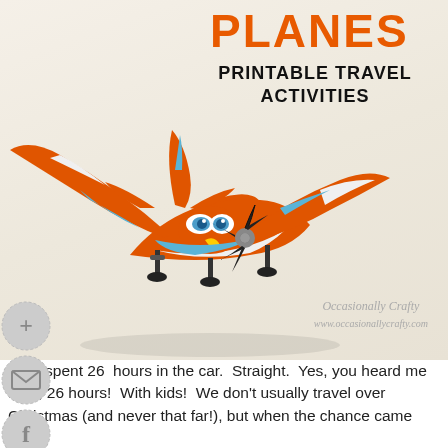PLANES
PRINTABLE TRAVEL ACTIVITIES
[Figure (photo): Toy airplane model (Dusty from Disney Planes movie) — red and white plane with blue accents and black propeller, photographed on a light beige background. Social media share icons (add/plus, email, Facebook, Google+, Instagram) are overlaid on the left side.]
Occasionally Crafty
www.occasionallycrafty.com
I just spent 26 hours in the car. Straight. Yes, you heard me right, 26 hours! With kids! We don't usually travel over Christmas (and never that far!), but when the chance came